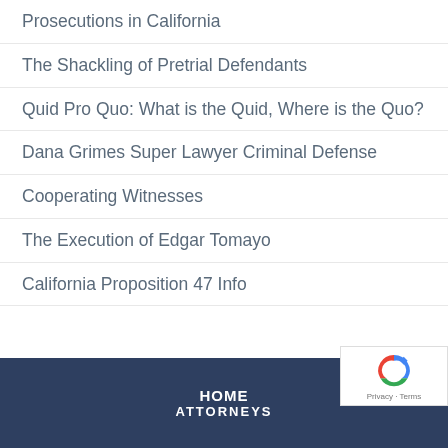Prosecutions in California
The Shackling of Pretrial Defendants
Quid Pro Quo: What is the Quid, Where is the Quo?
Dana Grimes Super Lawyer Criminal Defense
Cooperating Witnesses
The Execution of Edgar Tomayo
California Proposition 47 Info
HOME ATTORNEYS